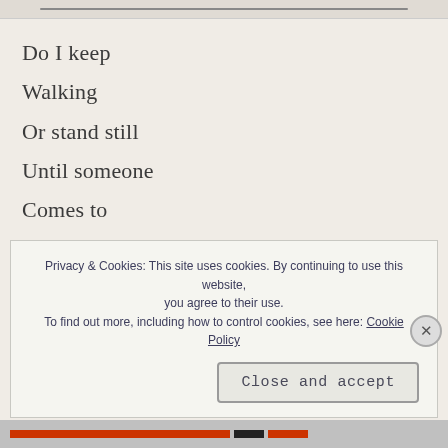Do I keep
Walking
Or stand still
Until someone
Comes to
Find me
Waiting feels
Like a lifetime
Privacy & Cookies: This site uses cookies. By continuing to use this website, you agree to their use.
To find out more, including how to control cookies, see here: Cookie Policy
Close and accept